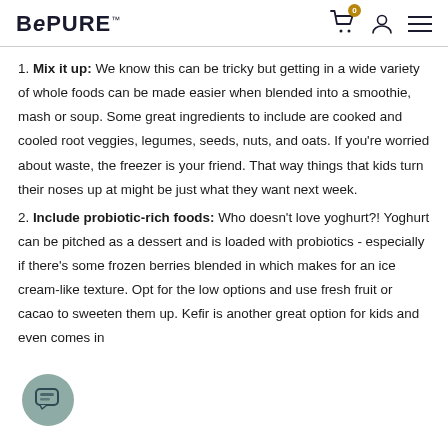BePURE
1. Mix it up: We know this can be tricky but getting in a wide variety of whole foods can be made easier when blended into a smoothie, mash or soup. Some great ingredients to include are cooked and cooled root veggies, legumes, seeds, nuts, and oats. If you're worried about waste, the freezer is your friend. That way things that kids turn their noses up at might be just what they want next week.
2. Include probiotic-rich foods: Who doesn't love yoghurt?! Yoghurt can be pitched as a dessert and is loaded with probiotics - especially if there's some frozen berries blended in which makes for an ice cream-like texture. Opt for the low options and use fresh fruit or cacao to sweeten them up. Kefir is another great option for kids and even comes in